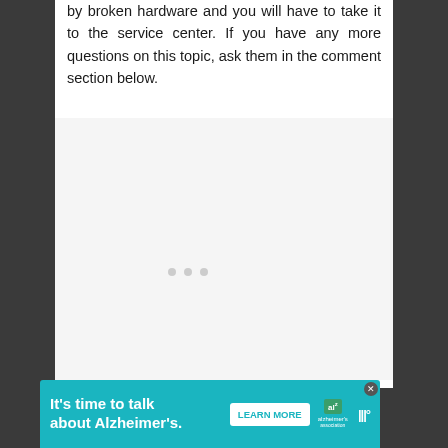by broken hardware and you will have to take it to the service center. If you have any more questions on this topic, ask them in the comment section below.
[Figure (other): Light gray placeholder box with three small gray dots near the center-bottom, indicating loading or ad content area]
[Figure (infographic): Advertisement banner with teal background. Text reads: It's time to talk about Alzheimer's. Contains a LEARN MORE button, Alzheimer's association logo, and a close button. Right side shows a weave/menu icon.]